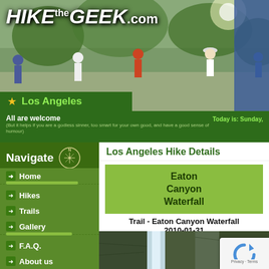[Figure (screenshot): HikeTheGeek.com website banner with hikers photo in background]
HIKE the GEEK .com
★ Los Angeles
All are welcome
(But it helps if you are a godless sinner, too smart for your own good, and have a good sense of humour)
Today is: Sunday,
Navigate
Home
Hikes
Trails
Gallery
F.A.Q.
About us
Los Angeles Hike Details
Eaton Canyon Waterfall
Trail - Eaton Canyon Waterfall 2010-01-31
13:01 pm
Past
[Figure (photo): Photo of Eaton Canyon Waterfall with reCAPTCHA badge in corner]